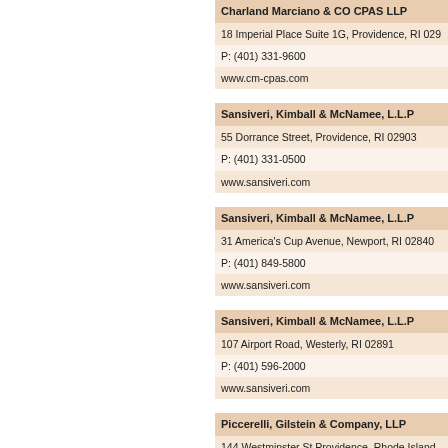Charland Marciano & CO CPAS LLP
18 Imperial Place Suite 1G, Providence, RI 029...
P: (401) 331-9600
www.cm-cpas.com
Sansiveri, Kimball & McNamee, L.L.P
55 Dorrance Street, Providence, RI 02903
P: (401) 331-0500
www.sansiveri.com
Sansiveri, Kimball & McNamee, L.L.P
31 America's Cup Avenue, Newport, RI 02840
P: (401) 849-5800
www.sansiveri.com
Sansiveri, Kimball & McNamee, L.L.P
107 Airport Road, Westerly, RI 02891
P: (401) 596-2000
www.sansiveri.com
Piccerelli, Gilstein & Company, LLP
144 Westminster St.Providence, Rhode Island...
P: (401) 831-0200  F: (401) 331-8562